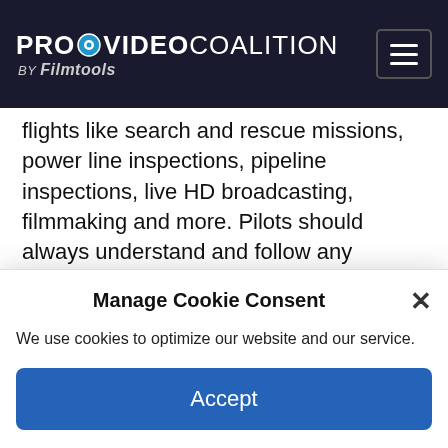PROVIDEO COALITION BY Filmtools
flights like search and rescue missions, power line inspections, pipeline inspections, live HD broadcasting, filmmaking and more. Pilots should always understand and follow any applicable laws and regulations regarding flight distance.
DJI Tracktenna supports transmission speeds of up to 10 Mbps within 1.24 miles (2 km) for data-
Manage Cookie Consent
We use cookies to optimize our website and our service.
Accept